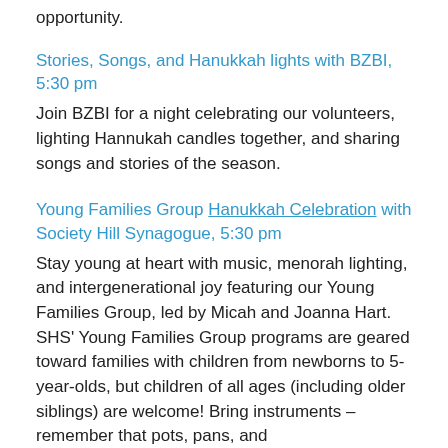opportunity.
Stories, Songs, and Hanukkah lights with BZBI, 5:30 pm
Join BZBI for a night celebrating our volunteers, lighting Hannukah candles together, and sharing songs and stories of the season.
Young Families Group Hanukkah Celebration with Society Hill Synagogue, 5:30 pm
Stay young at heart with music, menorah lighting, and intergenerational joy featuring our Young Families Group, led by Micah and Joanna Hart. SHS' Young Families Group programs are geared toward families with children from newborns to 5-year-olds, but children of all ages (including older siblings) are welcome! Bring instruments – remember that pots, pans, and